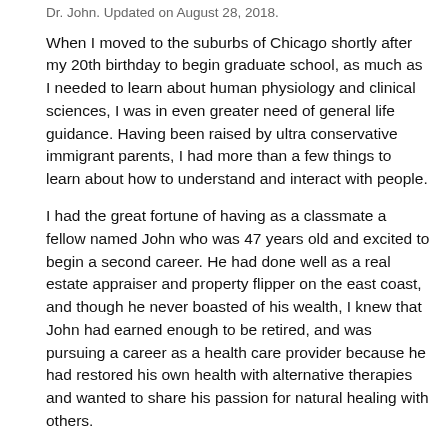Dr. John. Updated on August 28, 2018.
When I moved to the suburbs of Chicago shortly after my 20th birthday to begin graduate school, as much as I needed to learn about human physiology and clinical sciences, I was in even greater need of general life guidance. Having been raised by ultra conservative immigrant parents, I had more than a few things to learn about how to understand and interact with people.
I had the great fortune of having as a classmate a fellow named John who was 47 years old and excited to begin a second career. He had done well as a real estate appraiser and property flipper on the east coast, and though he never boasted of his wealth, I knew that John had earned enough to be retired, and was pursuing a career as a health care provider because he had restored his own health with alternative therapies and wanted to share his passion for natural healing with others.
Early on in our friendship, John shared the story of how he purposely bought and drove a beater car when he was courting the lady who eventually became his bride. He had 17 properties in his real estate portfolio at the time, millions in the bank, and could have easily afforded to showcase his economic wealth with an ultra luxurious car, but instead, he went out of his way to drive a somewhat rusty Hyundai Pony, and made sure that he gave no